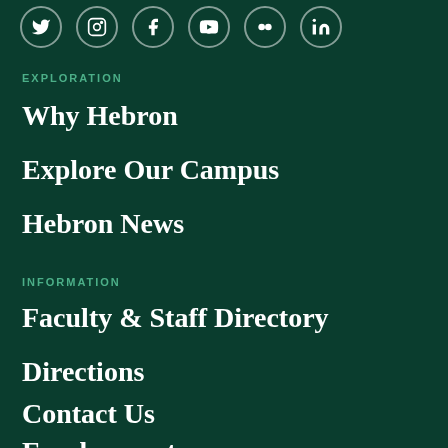[Figure (other): Social media icons row: Twitter, Instagram, Facebook, YouTube, Flickr, LinkedIn — white icons in faint circular borders on dark green background]
EXPLORATION
Why Hebron
Explore Our Campus
Hebron News
INFORMATION
Faculty & Staff Directory
Directions
Contact Us
Employment